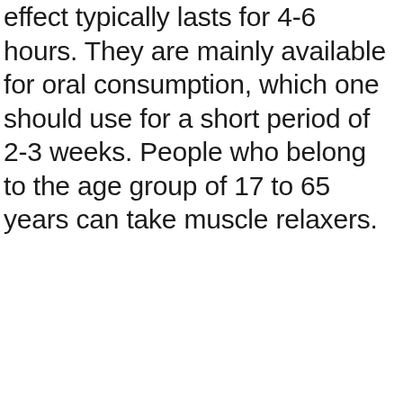effect typically lasts for 4-6 hours. They are mainly available for oral consumption, which one should use for a short period of 2-3 weeks. People who belong to the age group of 17 to 65 years can take muscle relaxers.